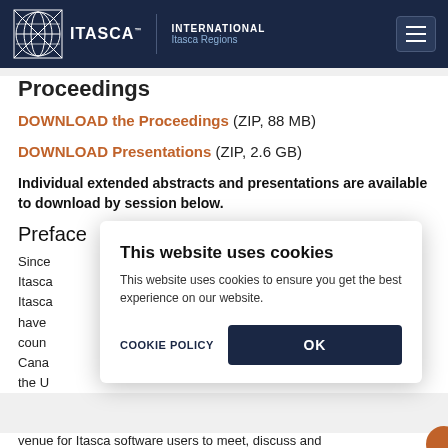INTERNATIONAL Itasca Regions
Proceedings
DOWNLOAD the Proceedings (ZIP, 88 MB)
DOWNLOAD Presentations (ZIP, 2.6 GB)
Individual extended abstracts and presentations are available to download by session below.
Preface
Since
Itasca
Itasca
have
coun
Cana
the U
venue for Itasca software users to meet, discuss and
This website uses cookies
This website uses cookies to ensure you get the best experience on our website.
COOKIE POLICY   OK